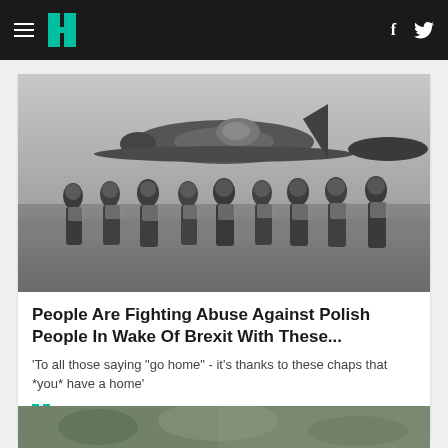HuffPost UK — navigation bar with hamburger menu, logo, Facebook and Twitter icons
[Figure (photo): Black and white WWII-era photograph of approximately 9-10 RAF airmen in flying gear (Mae West life vests) walking in a line in front of a Spitfire or Hurricane aircraft on a grass airfield.]
People Are Fighting Abuse Against Polish People In Wake Of Brexit With These...
'To all those saying "go home" - it's thanks to these chaps that *you* have a home'
HuffPost UK / Jun 27, 2016
[Figure (photo): Partial view of a second news article image at the bottom of the page, cropped — appears to show an outdoor scene with green foliage.]